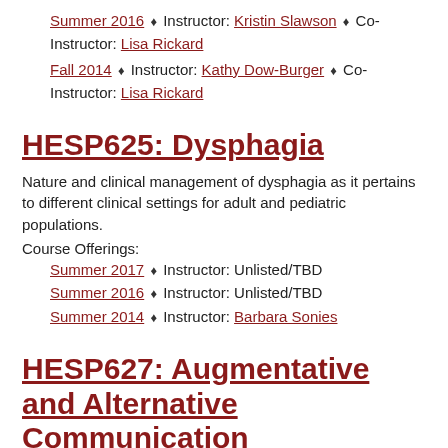Summer 2016 ♦ Instructor: Kristin Slawson ♦ Co-Instructor: Lisa Rickard
Fall 2014 ♦ Instructor: Kathy Dow-Burger ♦ Co-Instructor: Lisa Rickard
HESP625: Dysphagia
Nature and clinical management of dysphagia as it pertains to different clinical settings for adult and pediatric populations.
Course Offerings:
Summer 2017 ♦ Instructor: Unlisted/TBD
Summer 2016 ♦ Instructor: Unlisted/TBD
Summer 2014 ♦ Instructor: Barbara Sonies
HESP627: Augmentative and Alternative Communication
Principles, methods, and procedures for categorizing,